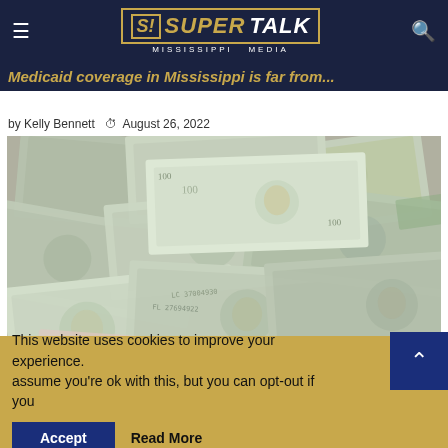SuperTalk Mississippi Media
Medicaid coverage in Mississippi is far from...
by Kelly Bennett  August 26, 2022
[Figure (photo): Pile of US $100 dollar bills scattered on a surface]
This website uses cookies to improve your experience. assume you're ok with this, but you can opt-out if you